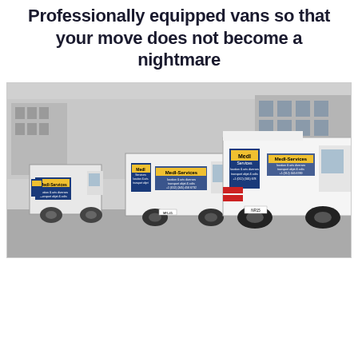Professionally equipped vans so that your move does not become a nightmare
[Figure (photo): Three white moving vans parked in a row outdoors. Each van has company branding/logos on the side and rear doors. Buildings are visible in the background.]